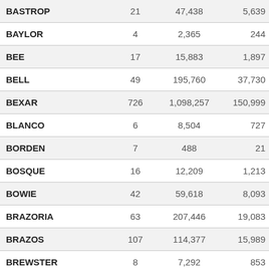| BASTROP | 21 | 47,438 | 5,639 |
| BAYLOR | 4 | 2,365 | 244 |
| BEE | 17 | 15,883 | 1,897 |
| BELL | 49 | 195,760 | 37,730 |
| BEXAR | 726 | 1,098,257 | 150,999 |
| BLANCO | 6 | 8,504 | 727 |
| BORDEN | 7 | 488 | 21 |
| BOSQUE | 16 | 12,209 | 1,213 |
| BOWIE | 42 | 59,618 | 8,093 |
| BRAZORIA | 63 | 207,446 | 19,083 |
| BRAZOS | 107 | 114,377 | 15,989 |
| BREWSTER | 8 | 7,292 | 853 |